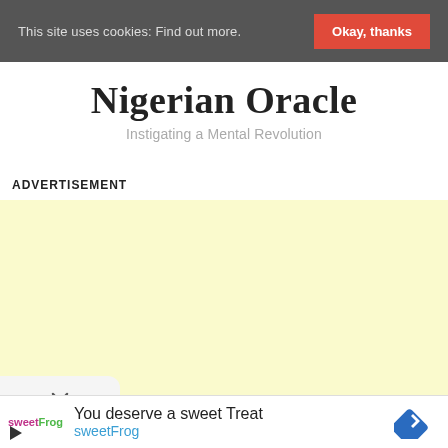This site uses cookies: Find out more.  Okay, thanks
Nigerian Oracle
Instigating a Mental Revolution
ADVERTISEMENT
[Figure (other): Yellow advertisement placeholder box]
[Figure (screenshot): SweetFrog advertisement banner: 'You deserve a sweet Treat' with sweetFrog logo and blue diamond arrow icon]